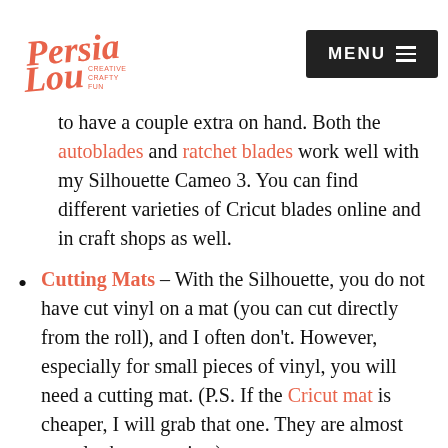Persia Lou — CREATIVE CRAFTY FUN | MENU
to have a couple extra on hand. Both the autoblades and ratchet blades work well with my Silhouette Cameo 3. You can find different varieties of Cricut blades online and in craft shops as well.
Cutting Mats – With the Silhouette, you do not have cut vinyl on a mat (you can cut directly from the roll), and I often don't. However, especially for small pieces of vinyl, you will need a cutting mat. (P.S. If the Cricut mat is cheaper, I will grab that one. They are almost exactly the same size.)